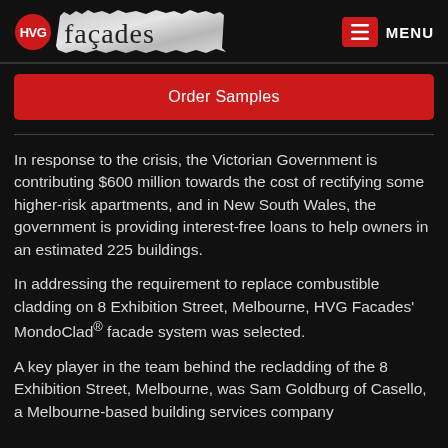[Figure (logo): HVG Facades logo with red HVG circle badge and 'façades' text on torn paper background, alongside hamburger menu icon and MENU text]
Order Samples
In response to the crisis, the Victorian Government is contributing $600 million towards the cost of rectifying some higher-risk apartments, and in New South Wales, the government is providing interest-free loans to help owners in an estimated 225 buildings.
In addressing the requirement to replace combustible cladding on 8 Exhibition Street, Melbourne, HVG Facades' MondoClad® facade system was selected.
A key player in the team behind the recladding of the 8 Exhibition Street, Melbourne, was Sam Goldburg of Casello, a Melbourne-based building services company